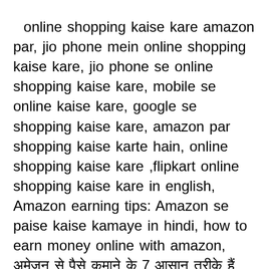online shopping kaise kare amazon par, jio phone mein online shopping kaise kare, jio phone se online shopping kaise kare, mobile se online kaise kare, google se shopping kaise kare, amazon par shopping kaise karte hain, online shopping kaise kare ,flipkart online shopping kaise kare in english, Amazon earning tips: Amazon se paise kaise kamaye in hindi, how to earn money online with amazon, अमेज़न से पैसे कमाने के 7 आसान तरीके हैं Humme se jada tar logo ke mobile me Flipkart, Amazon jese shopping app install hote hi hai. Online shopping karke ham jo product order karte hai kyi bar hume usko return karne ki jaroorat padta hai. Is wajah se aaj is post me mein aapko Amazon order return kaise kare iske bare me batane wala hu. Tag - amazon se kaise earn karen. Sarkari Jobs Amazon